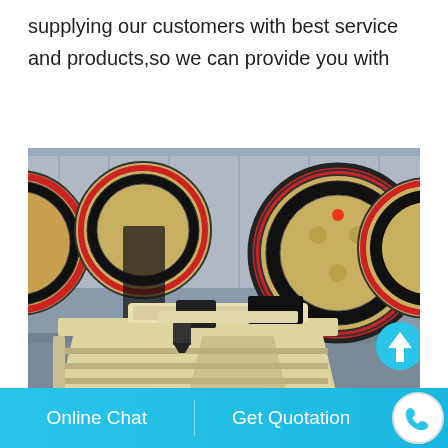supplying our customers with best service and products,so we can provide you with
[Figure (photo): Industrial jaw crusher machine with large black and red flywheels, cream-colored body with ribbed frame, stored in a warehouse facility]
Online Chat   Get Quotation